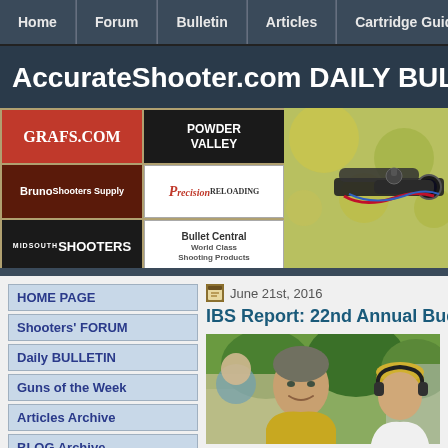Home | Forum | Bulletin | Articles | Cartridge Guides
AccurateShooter.com DAILY BULLET
[Figure (screenshot): Advertiser logos: GRAFS.COM, POWDER VALLEY, Bruno Shooters Supply, Precision Reloading, MIDSOUTH SHOOTERS, Bullet Central World Class Shooting Products; alongside a photo of a rifle scope/equipment with green/yellow bokeh background]
HOME PAGE
Shooters' FORUM
Daily BULLETIN
Guns of the Week
Articles Archive
BLOG Archive
Competition Info
Varmint Pages
6BR Info Page
6BR Improved
17 CAL Info Page
June 21st, 2016
IBS Report: 22nd Annual Bud Pry
[Figure (photo): Photo of men at a shooting competition, one facing camera smiling wearing yellow shirt, another man to the right wearing headphones and yellow cap]